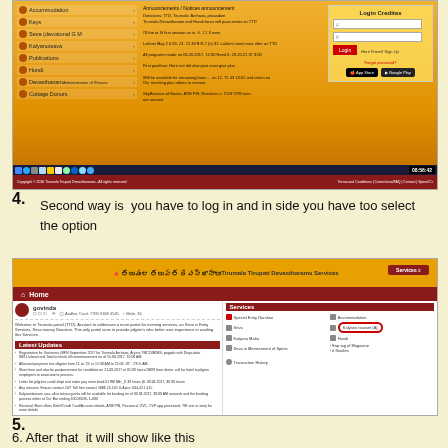[Figure (screenshot): Screenshot of TTD (Tirumala Tirupati Devasthanams) website showing accommodation, keys, Seva booking, Kalyanotsavam, Publications, etc. menu on left, login credentials box on right, footer bar with copyright info, and Windows taskbar at bottom.]
4. Second way is you have to log in and in side you have too select the option
[Figure (screenshot): Screenshot of TTD Services portal after login showing user 'govinda' profile, Latest Updates section on left, Services section on right with Kalyanotsavam highlighted in a red circle.]
5.
6. After that it will show like this